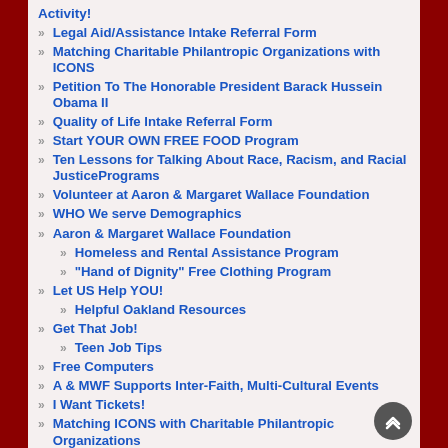Activity!
Legal Aid/Assistance Intake Referral Form
Matching Charitable Philantropic Organizations with ICONS
Petition To The Honorable President Barack Hussein Obama II
Quality of Life Intake Referral Form
Start YOUR OWN FREE FOOD Program
Ten Lessons for Talking About Race, Racism, and Racial JusticePrograms
Volunteer at Aaron & Margaret Wallace Foundation
WHO We serve Demographics
Aaron & Margaret Wallace Foundation
Homeless and Rental Assistance Program
"Hand of Dignity" Free Clothing Program
Let US Help YOU!
Helpful Oakland Resources
Get That Job!
Teen Job Tips
Free Computers
A & MWF Supports Inter-Faith, Multi-Cultural Events
I Want Tickets!
Matching ICONS with Charitable Philantropic Organizations
Celebrities and The Charities They Support
Celebrities Who Have Experienced Homelessness
Celebrity High School and Elementary School Dropouts
The Leon Powe Story and "Fresh Start for Oakland"